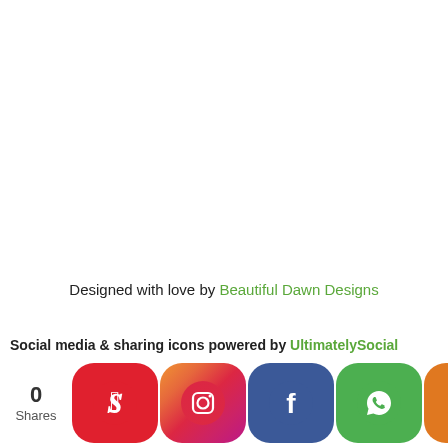Designed with love by Beautiful Dawn Designs
Social media & sharing icons powered by UltimatelySocial
[Figure (infographic): Row of social media share buttons: Pinterest (red), Instagram (gradient), Facebook (blue), WhatsApp (green), Share (orange), with a share count of 0 Shares on the left.]